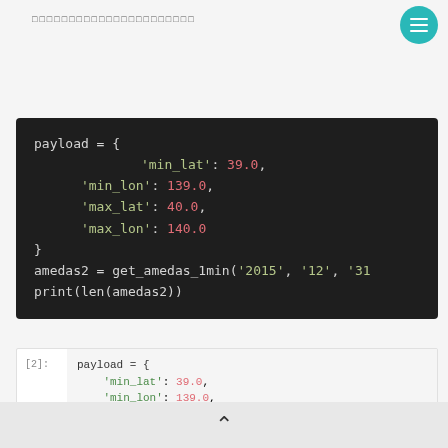□□□□□□□□□□□□□□□□□□□□□□
[Figure (screenshot): Dark-themed code block showing Python payload dictionary with min_lat: 39.0, min_lon: 139.0, max_lat: 40.0, max_lon: 140.0, and calls to get_amedas_1min and print(len(amedas2))]
[Figure (screenshot): Jupyter notebook cell [2] showing payload dictionary with min_lat: 39.0, min_lon: 139.0, max_lat: 40.0]